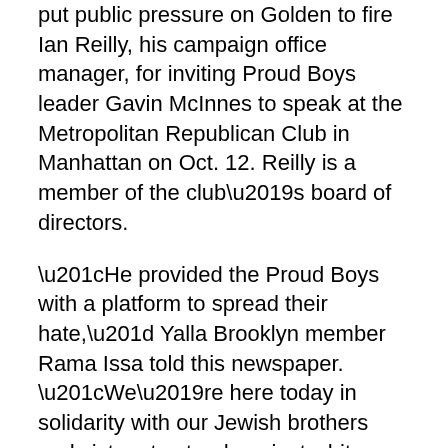put public pressure on Golden to fire Ian Reilly, his campaign office manager, for inviting Proud Boys leader Gavin McInnes to speak at the Metropolitan Republican Club in Manhattan on Oct. 12. Reilly is a member of the club’s board of directors.
“He provided the Proud Boys with a platform to spread their hate,” Yalla Brooklyn member Rama Issa told this newspaper. “We’re here today in solidarity with our Jewish brothers and sisters to stand against white nationalism.”
Golden, who has represented the 22nd Senate District since 2002, is running for re-election on Nov. 6. He is facing a challenge from Democrat Andrew Gounardes.
Golden has steadfastly refused to fire Reilly. “He’s